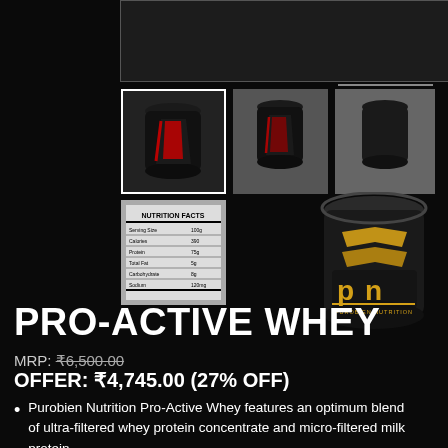[Figure (photo): Top large product image placeholder (cropped/partial view)]
[Figure (photo): Thumbnail 1: Black protein tub with red design, selected/highlighted with white border]
[Figure (photo): Thumbnail 2: Black protein tub with red design on grey background]
[Figure (photo): Thumbnail 3: Black protein tub on dark grey background]
[Figure (photo): Thumbnail 4: Nutrition facts label image]
[Figure (photo): Large product can image on right: Purobien Nutrition Pro-Active Whey black tub with gold PN logo and yellow/gold chevron stripes]
PRO-ACTIVE WHEY
MRP: ₹6,500.00
OFFER: ₹4,745.00 (27% OFF)
Purobien Nutrition Pro-Active Whey features an optimum blend of ultra-filtered whey protein concentrate and micro-filtered milk protein.
Purobien Nutrition Pro-Active Whey is specifically designed to meet daily protein